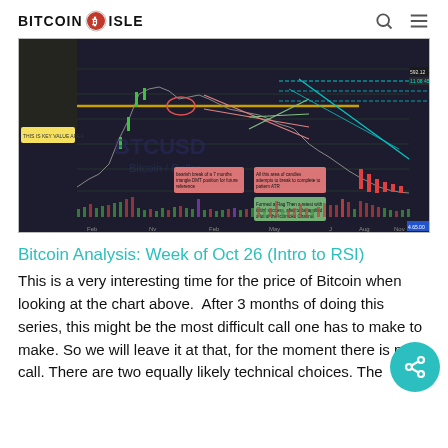BITCOIN ISLE
[Figure (continuous-plot): Bitcoin/Dollar weekly candlestick chart with technical analysis annotations, trend lines, RSI indicator, volume bars, and multiple price level markers and text callout boxes. Time range spans approximately Feb to Nov.]
Bitcoin Analysis: Week of Oct 26 (Intro to RSI)
This is a very interesting time for the price of Bitcoin when looking at the chart above.  After 3 months of doing this series, this might be the most difficult call one has to make to make. So we will leave it at that, for the moment there is no call. There are two equally likely technical choices. The